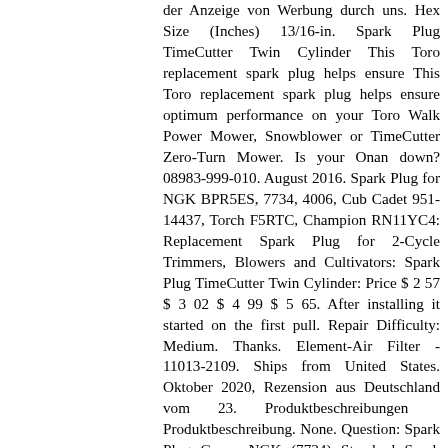der Anzeige von Werbung durch uns. Hex Size (Inches) 13/16-in. Spark Plug TimeCutter Twin Cylinder This Toro replacement spark plug helps ensure This Toro replacement spark plug helps ensure optimum performance on your Toro Walk Power Mower, Snowblower or TimeCutter Zero-Turn Mower. Is your Onan down? 08983-999-010. August 2016. Spark Plug for NGK BPR5ES, 7734, 4006, Cub Cadet 951-14437, Torch F5RTC, Champion RN11YC4: Replacement Spark Plug for 2-Cycle Trimmers, Blowers and Cultivators: Spark Plug TimeCutter Twin Cylinder: Price $ 2 57 $ 3 02 $ 4 99 $ 5 65. After installing it started on the first pull. Repair Difficulty: Medium. Thanks. Element-Air Filter - 11013-2109. Ships from United States. Oktober 2020, Rezension aus Deutschland vom 23. Produktbeschreibungen Produktbeschreibung. None. Question: Spark Plug Gap . NGK (7734) Standard Spark Plugs - BPR5ES Qty. Create New Topic. Save Cancel. Are the Honda spark plugs BPR5ES and BPR6ES interchangeable? Artikel 3 1x Ngk Zündkerze BPR5ES-CS4